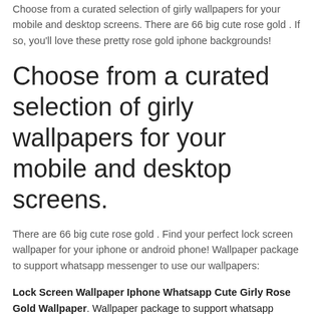Choose from a curated selection of girly wallpapers for your mobile and desktop screens. There are 66 big cute rose gold . If so, you'll love these pretty rose gold iphone backgrounds!
Choose from a curated selection of girly wallpapers for your mobile and desktop screens.
There are 66 big cute rose gold . Find your perfect lock screen wallpaper for your iphone or android phone! Wallpaper package to support whatsapp messenger to use our wallpapers:
Lock Screen Wallpaper Iphone Whatsapp Cute Girly Rose Gold Wallpaper. Wallpaper package to support whatsapp messenger to use our wallpapers: , next